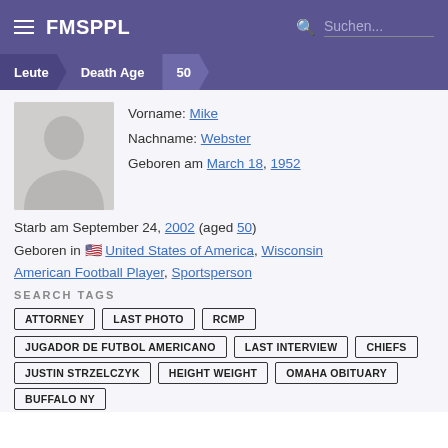FMSPPL  Suchen...
Leute > Death Age > 50
[Figure (photo): Silhouette placeholder avatar image of a person]
Vorname: Mike
Nachname: Webster
Geboren am March 18, 1952
Starb am September 24, 2002 (aged 50)
Geboren in 🇺🇸 United States of America, Wisconsin
American Football Player, Sportsperson
SEARCH TAGS
ATTORNEY
LAST PHOTO
RCMP
JUGADOR DE FUTBOL AMERICANO
LAST INTERVIEW
CHIEFS
JUSTIN STRZELCZYK
HEIGHT WEIGHT
OMAHA OBITUARY
BUFFALO NY